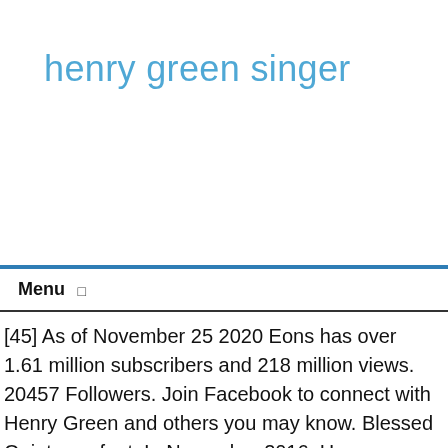henry green singer
[45] As of November 25 2020 Eons has over 1.61 million subscribers and 218 million views. 20457 Followers. Join Facebook to connect with Henry Green and others you may know. Blessed Quietness feat. In November 2016, Henry became a promotional embassador for Dubai Tourism, filming promotional videos in Chinese, Korean and English. [61] The title track featured Super Junior's Kyuhyun and SHINee's